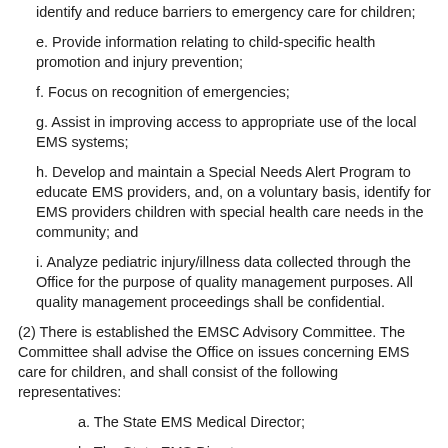identify and reduce barriers to emergency care for children;
e. Provide information relating to child-specific health promotion and injury prevention;
f. Focus on recognition of emergencies;
g. Assist in improving access to appropriate use of the local EMS systems;
h. Develop and maintain a Special Needs Alert Program to educate EMS providers, and, on a voluntary basis, identify for EMS providers children with special health care needs in the community; and
i. Analyze pediatric injury/illness data collected through the Office for the purpose of quality management purposes. All quality management proceedings shall be confidential.
(2) There is established the EMSC Advisory Committee. The Committee shall advise the Office on issues concerning EMS care for children, and shall consist of the following representatives:
a. The State EMS Medical Director;
b. The State EMS Director;